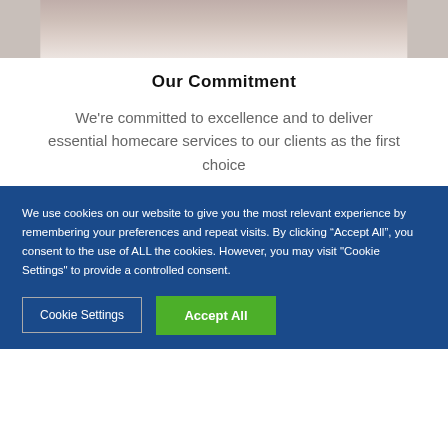[Figure (photo): Partial photo of two people, cropped at top of page]
Our Commitment
We're committed to excellence and to deliver essential homecare services to our clients as the first choice
We use cookies on our website to give you the most relevant experience by remembering your preferences and repeat visits. By clicking “Accept All”, you consent to the use of ALL the cookies. However, you may visit "Cookie Settings" to provide a controlled consent.
Cookie Settings | Accept All